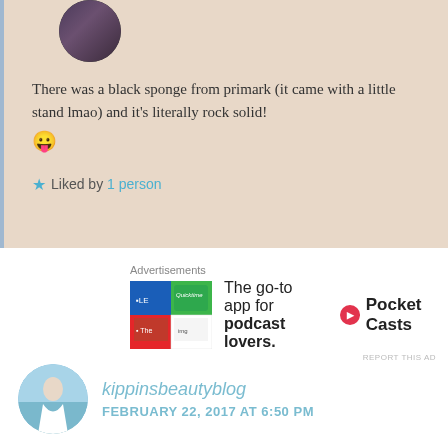There was a black sponge from primark (it came with a little stand lmao) and it's literally rock solid! 😛
Liked by 1 person
[Figure (screenshot): Pocket Casts advertisement: The go-to app for podcast lovers.]
REPORT THIS AD
kippinsbeautyblog
FEBRUARY 22, 2017 AT 6:50 PM
This and the one from W7 are the two worst I've tried, they actually hurt my face they were so hard and soaked up so